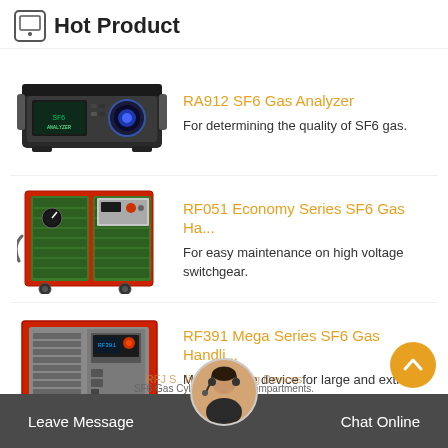Hot Product
[Figure (photo): RA912 SF6 Gas Analyzer — a rack-mounted electronic instrument with a blue circular display]
RA912 SF6 Gas Analyzer
For determining the quality of SF6 gas.
[Figure (photo): RF051 Economy Series SF6 Gas Handling unit — a large green and red cart-mounted cabinet with hoses and controls]
RF051 Economy Series SF6 Gas Ha...
For easy maintenance on high voltage switchgear.
[Figure (photo): RF391 Mega Series SF6 Gas Handling unit — a large red-framed floor-standing cabinet unit]
RF391 Mega Series SF6 Gas Handli...
Maintenance device for large and extra large gas…
Leave Message   Chat Online